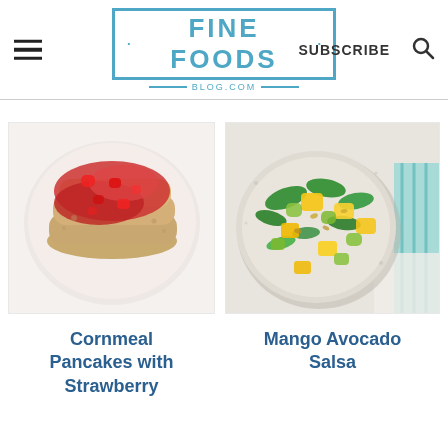FINE FOODS BLOG.COM — SUBSCRIBE
[Figure (photo): Cornmeal pancakes with strawberry compote on a white plate, viewed from above]
Cornmeal Pancakes with Strawberry
[Figure (photo): Mango avocado salsa in a speckled ceramic bowl, viewed from above, with teal cloth napkin]
Mango Avocado Salsa